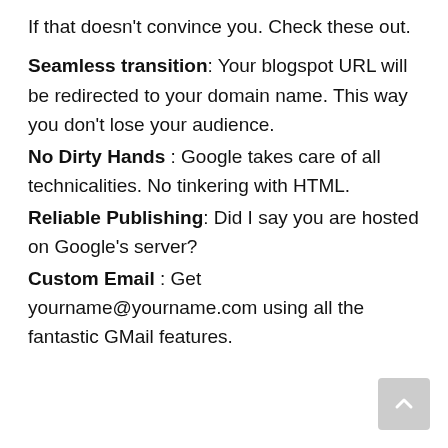If that doesn't convince you. Check these out.
Seamless transition: Your blogspot URL will be redirected to your domain name. This way you don't lose your audience.
No Dirty Hands : Google takes care of all technicalities. No tinkering with HTML.
Reliable Publishing: Did I say you are hosted on Google's server?
Custom Email : Get yourname@yourname.com using all the fantastic GMail features.